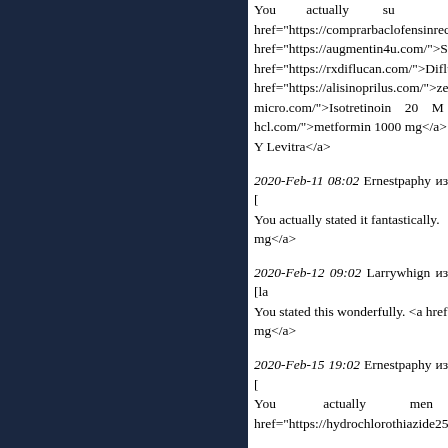You actually su href="https://comprarbaclofensinrece href="https://augmentin4u.com/">Sid href="https://rxdiflucan.com/">Difluca href="https://alisinoprilus.com/">zest micro.com/">Isotretinoin 20 M hcl.com/">metformin 1000 mg</a> Y Levitra</a>
2020-Feb-11 08:02 Ernestpaphy из [ You actually stated it fantastically. mg</a>
2020-Feb-12 09:02 Larrywhign из [la You stated this wonderfully. <a href mg</a>
2020-Feb-15 19:02 Ernestpaphy из [ You actually men href="https://hydrochlorothiazide25m
2020-Feb-16 16:02 RichardTOr из [r You mentioned it href="https://nextdayneurontin.com/" Dose</a>